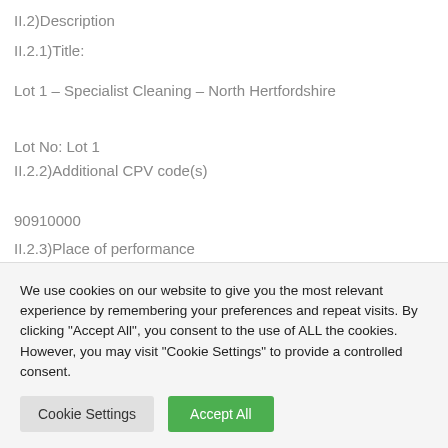II.2)Description
II.2.1)Title:
Lot 1 – Specialist Cleaning – North Hertfordshire
Lot No: Lot 1
II.2.2)Additional CPV code(s)
90910000
II.2.3)Place of performance
NUTS code: UKH23
We use cookies on our website to give you the most relevant experience by remembering your preferences and repeat visits. By clicking "Accept All", you consent to the use of ALL the cookies. However, you may visit "Cookie Settings" to provide a controlled consent.